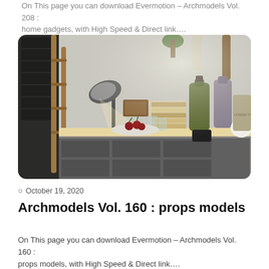On This page you can download Evermotion – Archmodels Vol. 208 : home gadgets, with High Speed & Direct link….
[Figure (photo): 3D rendered scene of a desktop/shelf with various home props: bottles, books, a lamp, glasses, cherries on a plate, and other decorative objects in a realistic interior setting.]
© October 19, 2020
Archmodels Vol. 160 : props models
On This page you can download Evermotion – Archmodels Vol. 160 : props models, with High Speed & Direct link….